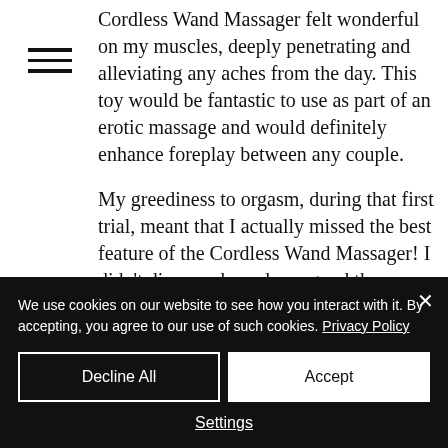[Figure (other): Hamburger menu icon with three horizontal lines]
Cordless Wand Massager felt wonderful on my muscles, deeply penetrating and alleviating any aches from the day. This toy would be fantastic to use as part of an erotic massage and would definitely enhance foreplay between any couple.
My greediness to orgasm, during that first trial, meant that I actually missed the best feature of the Cordless Wand Massager! I didn't discover how damn good the vibration patterns are until a few days later. I definitely made a mistake in sticking to the single…
We use cookies on our website to see how you interact with it. By accepting, you agree to our use of such cookies. Privacy Policy
Decline All
Accept
Settings